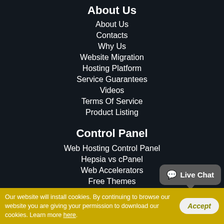About Us
About Us
Contacts
Why Us
Website Migration
Hosting Platform
Service Guarantees
Videos
Terms Of Service
Product Listing
Control Panel
Web Hosting Control Panel
Hepsia vs cPanel
Web Accelerators
Free Themes
Live Chat
Our website will install cookies. By continuing to browse our website you are giving your permission to download our cookies. Learn more here.